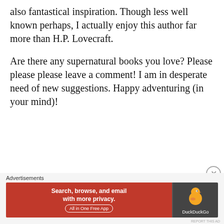also fantastical inspiration. Though less well known perhaps, I actually enjoy this author far more than H.P. Lovecraft.
Are there any supernatural books you love? Please please please leave a comment! I am in desperate need of new suggestions. Happy adventuring (in your mind)!
Advertisements
[Figure (other): DuckDuckGo advertisement banner: orange left panel with text 'Search, browse, and email with more privacy. All in One Free App' and dark right panel with DuckDuckGo duck logo]